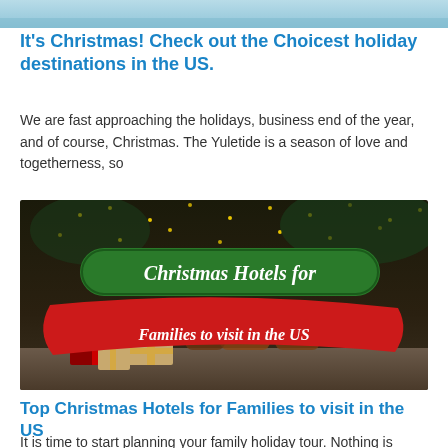[Figure (photo): Partial top image cropped — appears to be a holiday/travel scene with blue water or sky]
It's Christmas! Check out the Choicest holiday destinations in the US.
We are fast approaching the holidays, business end of the year, and of course, Christmas. The Yuletide is a season of love and togetherness, so
[Figure (photo): Christmas scene with wrapped gifts in foreground and Christmas tree with lights in background, overlaid with decorative text reading 'Christmas Hotels for Families to visit in the US']
Top Christmas Hotels for Families to visit in the US
It is time to start planning your family holiday tour. Nothing is